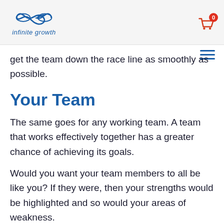infinite growth
get the team down the race line as smoothly as possible.
Your Team
The same goes for any working team. A team that works effectively together has a greater chance of achieving its goals.
Would you want your team members to all be like you? If they were, then your strengths would be highlighted and so would your areas of weakness.